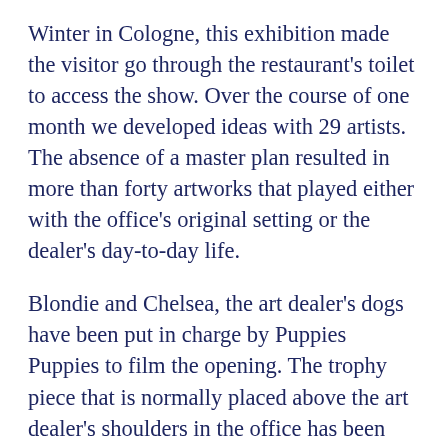Winter in Cologne, this exhibition made the visitor go through the restaurant's toilet to access the show. Over the course of one month we developed ideas with 29 artists. The absence of a master plan resulted in more than forty artworks that played either with the office's original setting or the dealer's day-to-day life.
Blondie and Chelsea, the art dealer's dogs have been put in charge by Puppies Puppies to film the opening. The trophy piece that is normally placed above the art dealer's shoulders in the office has been exchanged with Columbian Sperm donor, a rare 1999 signed poster of Lance Armstrong sent by Michael Mazurek. The huge Cindy Sherman's photography that hangs in the living room has